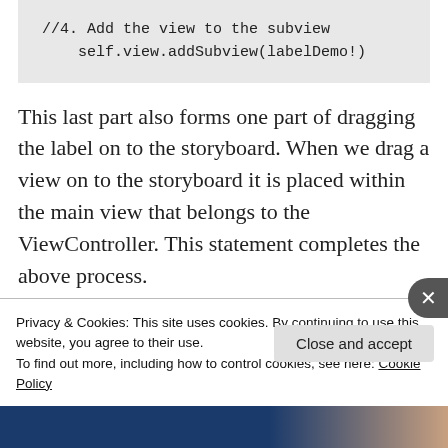[Figure (screenshot): Code block showing: //4. Add the view to the subview
self.view.addSubview(labelDemo!)]
This last part also forms one part of dragging the label on to the storyboard. When we drag a view on to the storyboard it is placed within the main view that belongs to the ViewController. This statement completes the above process.
14 Repeat the above steps for showing an
Privacy & Cookies: This site uses cookies. By continuing to use this website, you agree to their use.
To find out more, including how to control cookies, see here: Cookie Policy